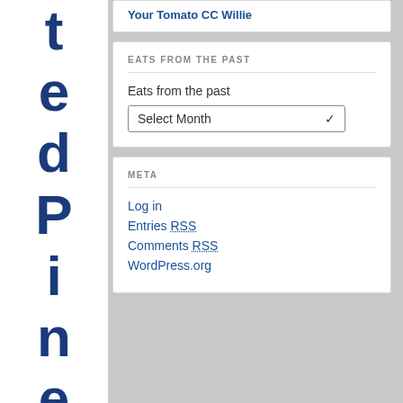t e d P i n e N u t s a n d P
Your Tomato-cc Willie
EATS FROM THE PAST
Eats from the past
Select Month
META
Log in
Entries RSS
Comments RSS
WordPress.org